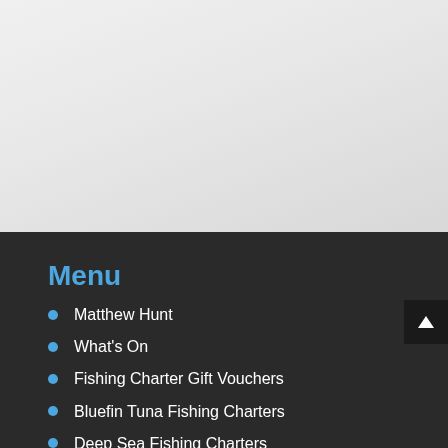[Figure (photo): Light gray background area representing the top section of a webpage with a faded image or hero section]
Menu
Matthew Hunt
What's On
Fishing Charter Gift Vouchers
Bluefin Tuna Fishing Charters
Deep Sea Fishing Charters